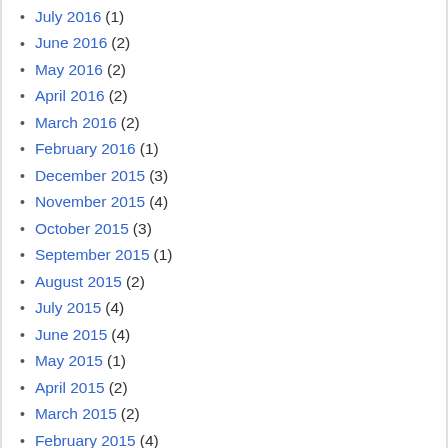July 2016 (1)
June 2016 (2)
May 2016 (2)
April 2016 (2)
March 2016 (2)
February 2016 (1)
December 2015 (3)
November 2015 (4)
October 2015 (3)
September 2015 (1)
August 2015 (2)
July 2015 (4)
June 2015 (4)
May 2015 (1)
April 2015 (2)
March 2015 (2)
February 2015 (4)
January 2015 (1)
December 2014 (2)
November 2014 (2)
October 2014 (1)
September 2014 (4)
August 2014 (1)